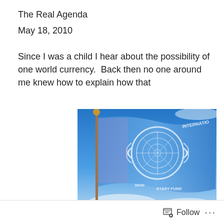The Real Agenda
May 18, 2010
Since I was a child I hear about the possibility of one world currency.  Back then no one around me knew how to explain how that
[Figure (photo): A flag featuring the UN emblem overlaid with the International Monetary Fund logo, waving against a blue sky with clouds.]
(partially visible continuation text)
Follow  ···